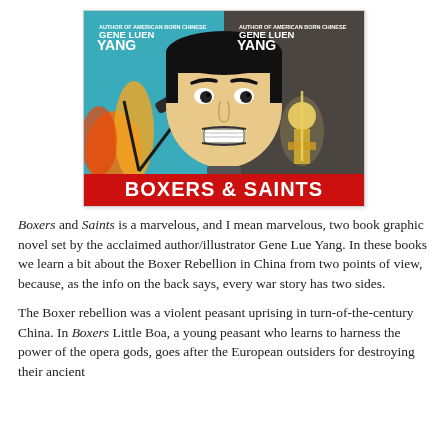[Figure (illustration): Book cover for 'Boxers & Saints' by Gene Luen Yang. Split cover showing two characters — left side has a Chinese boy in front of orange flames and a cannon on a teal background, right side shows a girl in golden armor on a dark background. Red banner at bottom reads 'BOXERS & SAINTS'. Author's name 'Gene Luen Yang' appears at top of both halves.]
Boxers and Saints is a marvelous, and I mean marvelous, two book graphic novel set by the acclaimed author/illustrator Gene Lue Yang. In these books we learn a bit about the Boxer Rebellion in China from two points of view, because, as the info on the back says, every war story has two sides.
The Boxer rebellion was a violent peasant uprising in turn-of-the-century China. In Boxers Little Boa, a young peasant who learns to harness the power of the opera gods, goes after the European outsiders for destroying their ancient